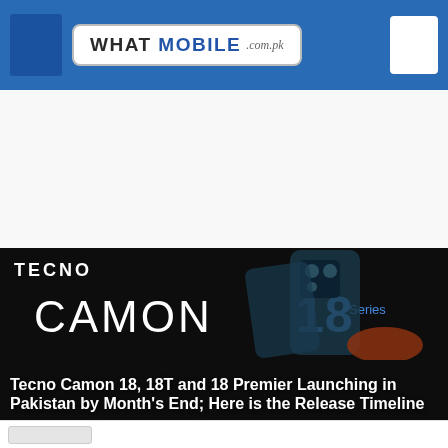WHAT MOBILE .com.pk
[Figure (photo): Tecno Camon 18 series promotional image showing smartphone on dark background with TECNO and CAMON 18 Series branding]
Tecno Camon 18, 18T and 18 Premier Launching in Pakistan by Month's End; Here is the Release Timeline